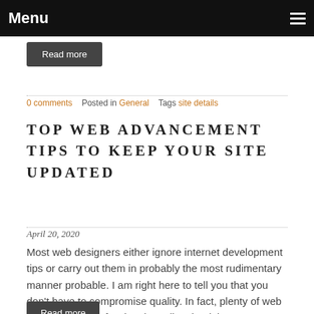Menu
Read more
0 comments   Posted in General   Tags site details
TOP WEB ADVANCEMENT TIPS TO KEEP YOUR SITE UPDATED
April 20, 2020
Most web designers either ignore internet development tips or carry out them in probably the most rudimentary manner probable. I am right here to tell you that you don't have to compromise quality. In fact, plenty of web development professionals realize that it is not no more than the technical asp…
Read more